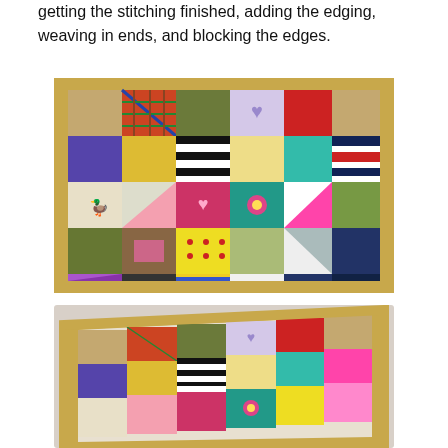getting the stitching finished, adding the edging, weaving in ends, and blocking the edges.
[Figure (photo): A flat-lay photograph of a colorful knitted patchwork blanket viewed from above, with a tan/gold crocheted border. The blanket contains many different knitted squares in various colors and patterns including plaid, stripes, a heart, a flower, a duck/bird motif, and other textured stitches.]
[Figure (photo): A photograph of the same colorful knitted patchwork blanket viewed from an angle/side perspective, showing the same squares and border from a different vantage point.]